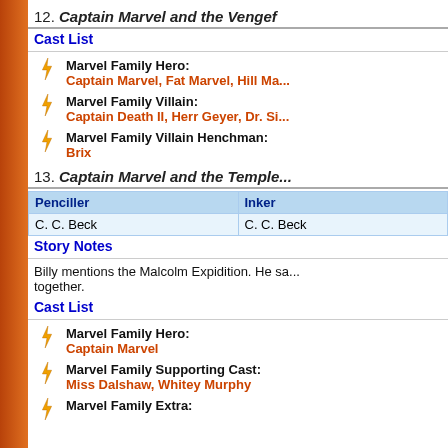12. Captain Marvel and the Vengef...
Cast List
Marvel Family Hero: Captain Marvel, Fat Marvel, Hill Ma...
Marvel Family Villain: Captain Death II, Herr Geyer, Dr. Si...
Marvel Family Villain Henchman: Brix
13. Captain Marvel and the Temple...
| Penciller | Inker |
| --- | --- |
| C. C. Beck | C. C. Beck |
Story Notes
Billy mentions the Malcolm Expidition. He sa... together.
Cast List
Marvel Family Hero: Captain Marvel
Marvel Family Supporting Cast: Miss Dalshaw, Whitey Murphy
Marvel Family Extra: